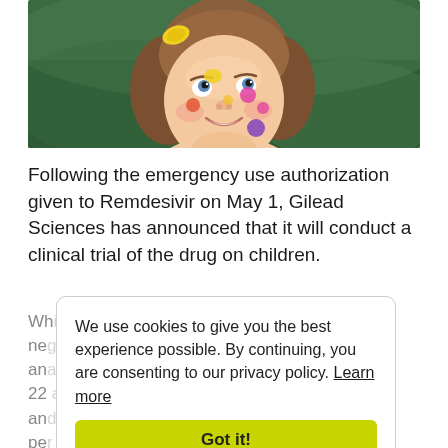[Figure (photo): Close-up photo of a young smiling girl with colorful paint spots on her face and a yellow hair clip, looking upward against a green background.]
Following the emergency use authorization given to Remdesivir on May 1, Gilead Sciences has announced that it will conduct a clinical trial of the drug on children.
While the company participated in an earlier negative trial, it announced an analysis between January 22 and May 30 found that children aged nine and below have an incidence rate of 51 cases per 100,000 people.
We use cookies to give you the best experience possible. By continuing, you are consenting to our privacy policy. Learn more
Got it!